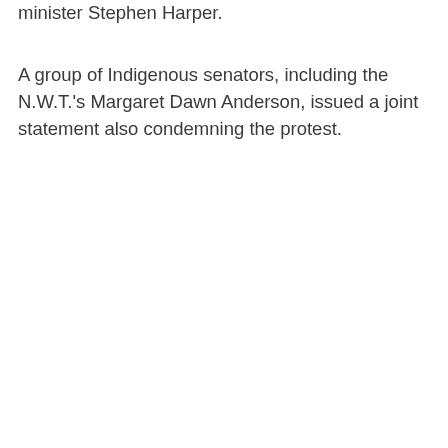minister Stephen Harper.
A group of Indigenous senators, including the N.W.T.'s Margaret Dawn Anderson, issued a joint statement also condemning the protest.